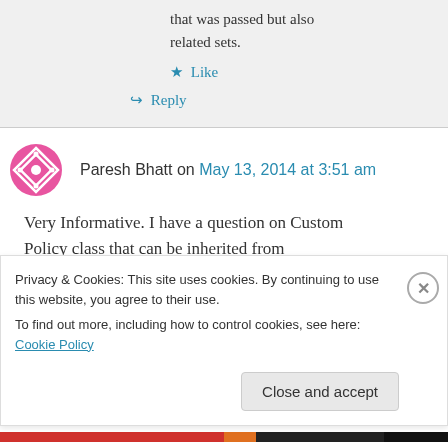that was passed but also related sets.
Like
Reply
Paresh Bhatt on May 13, 2014 at 3:51 am
Very Informative. I have a question on Custom Policy class that can be inherited from
Privacy & Cookies: This site uses cookies. By continuing to use this website, you agree to their use. To find out more, including how to control cookies, see here: Cookie Policy
Close and accept